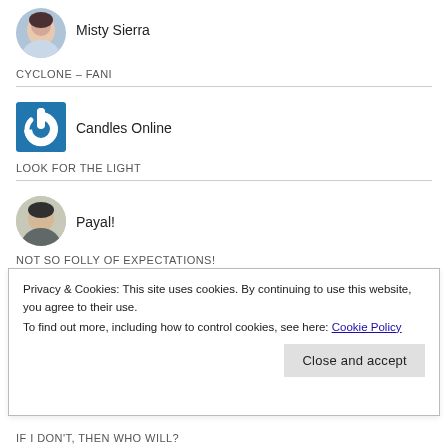[Figure (photo): Circular avatar photo of Misty Sierra]
Misty Sierra
CYCLONE – FANI
[Figure (logo): Blue square logo with white power button icon for Candles Online]
Candles Online
LOOK FOR THE LIGHT
[Figure (photo): Circular avatar photo of Payal!]
Payal!
NOT SO FOLLY OF EXPECTATIONS!
Privacy & Cookies: This site uses cookies. By continuing to use this website, you agree to their use.
To find out more, including how to control cookies, see here: Cookie Policy
Close and accept
IF I DON'T, THEN WHO WILL?